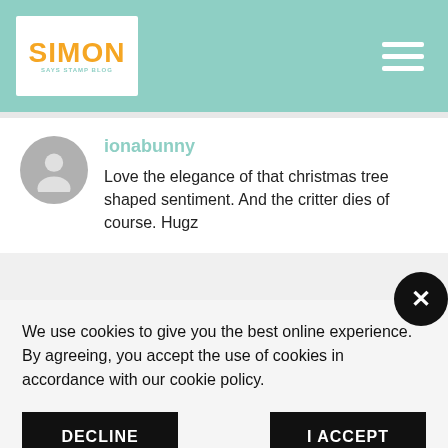[Figure (logo): Simon Says Stamp Blog logo with orange text and teal background in white box, hamburger menu icon on right]
ionabunny
Love the elegance of that christmas tree shaped sentiment. And the critter dies of course. Hugz
We use cookies to give you the best online experience. By agreeing, you accept the use of cookies in accordance with our cookie policy.
DECLINE
I ACCEPT
Privacy Policy   Cookie Policy
xxx